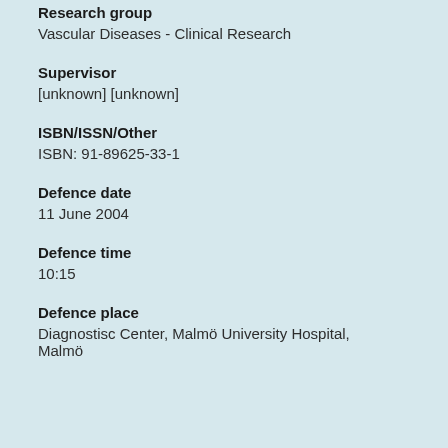Research group
Vascular Diseases - Clinical Research
Supervisor
[unknown] [unknown]
ISBN/ISSN/Other
ISBN: 91-89625-33-1
Defence date
11 June 2004
Defence time
10:15
Defence place
Diagnostisc Center, Malmö University Hospital, Malmö